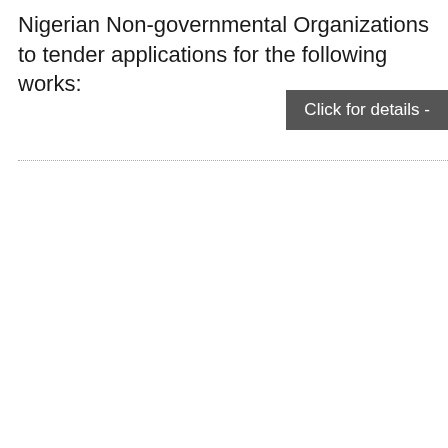Nigerian Non-governmental Organizations to tender applications for the following works:
[Figure (other): Dark grey button/label reading 'Click for details -']